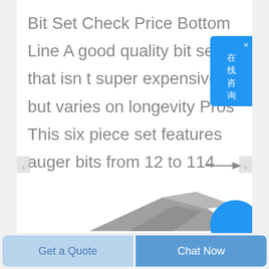Bit Set Check Price Bottom Line A good quality bit set that isn t super expensive but varies on longevity Pros This six piece set features auger bits from 12 to 114 inches Quick to use and sharp Full screw tip allows bit to self feed Includes a
[Figure (illustration): Partial view of gray angular shapes resembling drill bits or tool parts at bottom of screen, with a blue circular element on the right side]
Get a Quote
Chat Now